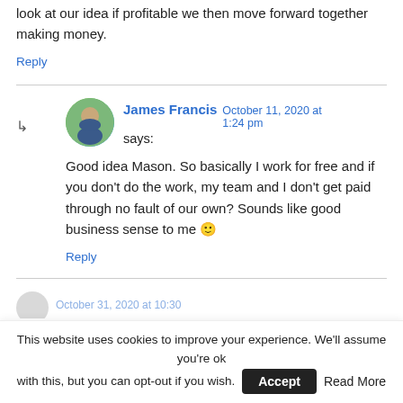look at our idea if profitable we then move forward together making money.
Reply
James Francis October 11, 2020 at 1:24 pm says:
Good idea Mason. So basically I work for free and if you don't do the work, my team and I don't get paid through no fault of our own? Sounds like good business sense to me 🙂
Reply
This website uses cookies to improve your experience. We'll assume you're ok with this, but you can opt-out if you wish. Accept Read More